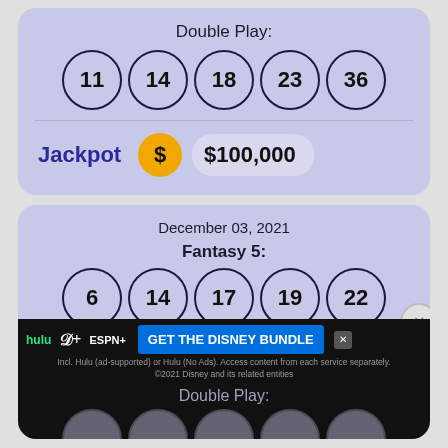Double Play:
[Figure (infographic): Five lottery balls showing numbers 11, 14, 18, 23, 36 for Double Play draw]
Jackpot  $100,000
December 03, 2021
Fantasy 5:
[Figure (infographic): Five lottery balls showing numbers 6, 14, 17, 19, 22 for Fantasy 5 draw (partially visible)]
[Figure (infographic): Advertisement banner: GET THE DISNEY BUNDLE - hulu, Disney+, ESPN+]
Double Play: